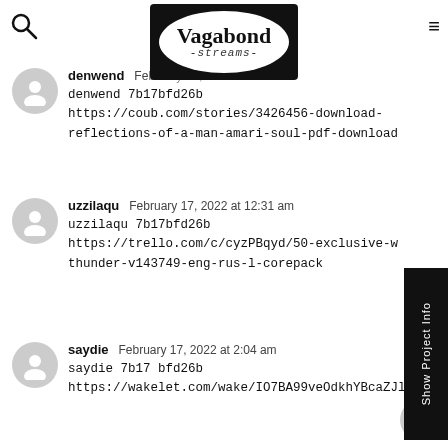[Figure (logo): Vagabond Streams logo — white oval on black rectangle background with serif bold 'Vagabond' and italic cursive '-streams-' text]
denwend February ... 
denwend 7b17bfd26b
https://coub.com/stories/3426456-download-reflections-of-a-man-amari-soul-pdf-download
uzzilaqu February 17, 2022 at 12:31 am
uzzilaqu 7b17bfd26b
https://trello.com/c/cyzPBqyd/50-exclusive-w thunder-v143749-eng-rus-l-corepack
saydie February 17, 2022 at 2:04 am
saydie 7b17 bfd26b
https://wakelet.com/wake/IO7BA99veOdkhYBcaZJl